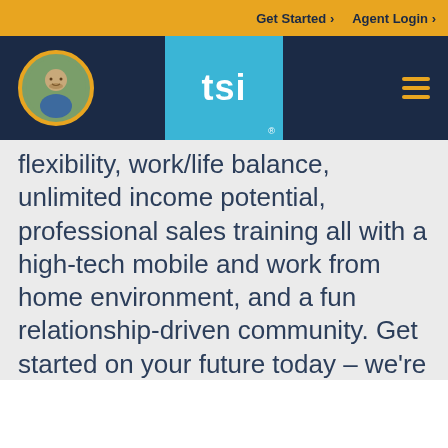Get Started > Agent Login >
[Figure (logo): TSI insurance company logo on blue background with registered mark, alongside a circular avatar photo of a man with a beard and gold border, and a hamburger menu icon]
flexibility, work/life balance, unlimited income potential, professional sales training all with a high-tech mobile and work from home environment, and a fun relationship-driven community. Get started on your future today – we're waiting to hear from you!